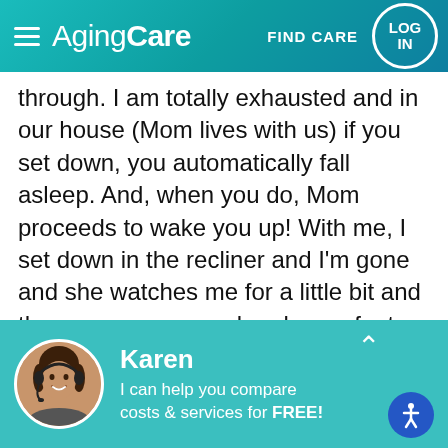AgingCare — FIND CARE — LOG IN
through. I am totally exhausted and in our house (Mom lives with us) if you set down, you automatically fall asleep. And, when you do, Mom proceeds to wake you up! With me, I set down in the recliner and I'm gone and she watches me for a little bit and then comes over and grabs my foot and says "are you OK" or "are you asleep?" My husband was setting with her until I went to the store the other day and he dozed off during a football game he was watching. What did she do? She woke him up and told him the cat needed food cause she was
[Figure (photo): Customer service representative Karen with headset, smiling]
Karen
I can help you compare costs & services for FREE!